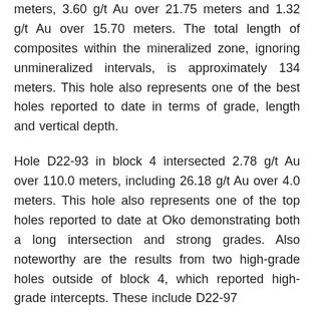meters, 3.60 g/t Au over 21.75 meters and 1.32 g/t Au over 15.70 meters. The total length of composites within the mineralized zone, ignoring unmineralized intervals, is approximately 134 meters. This hole also represents one of the best holes reported to date in terms of grade, length and vertical depth.
Hole D22-93 in block 4 intersected 2.78 g/t Au over 110.0 meters, including 26.18 g/t Au over 4.0 meters. This hole also represents one of the top holes reported to date at Oko demonstrating both a long intersection and strong grades. Also noteworthy are the results from two high-grade holes outside of block 4, which reported high-grade intercepts. These include D22-97